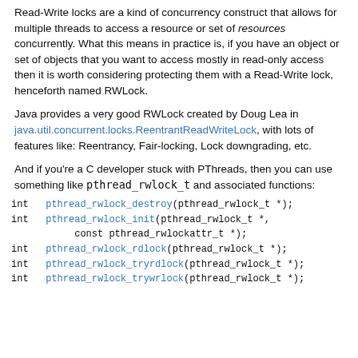Read-Write locks are a kind of concurrency construct that allows for multiple threads to access a resource or set of resources concurrently. What this means in practice is, if you have an object or set of objects that you want to access mostly in read-only access then it is worth considering protecting them with a Read-Write lock, henceforth named RWLock.
Java provides a very good RWLock created by Doug Lea in java.util.concurrent.locks.ReentrantReadWriteLock, with lots of features like: Reentrancy, Fair-locking, Lock downgrading, etc.
And if you're a C developer stuck with PThreads, then you can use something like pthread_rwlock_t and associated functions:
int	pthread_rwlock_destroy(pthread_rwlock_t *);
int	pthread_rwlock_init(pthread_rwlock_t *,
		const pthread_rwlockattr_t *);
int	pthread_rwlock_rdlock(pthread_rwlock_t *);
int	pthread_rwlock_tryrdlock(pthread_rwlock_t *);
int	pthread_rwlock_trywrlock(pthread_rwlock_t *);